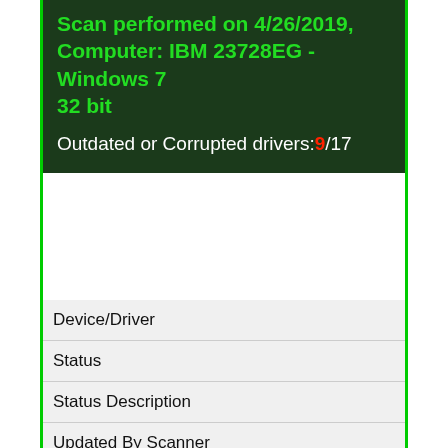Scan performed on 4/26/2019, Computer: IBM 23728EG - Windows 7 32 bit
Outdated or Corrupted drivers:9/17
| Device/Driver | Status | Status Description | Updated By Scanner |
| --- | --- | --- | --- |
| Motherboards |  |  |  |
| Intel(R) ICH8M 3 port Serial ATA Storage Controller - 2828 |  |  |  |
| Up To Date and Functioning |  |  |  |
| Mice And Touchpads |  |  |  |
| Microsoft HID mouse |  |  |  |
| Up To Date and Functioning |  |  |  |
| WheelMouse HID mouse |  |  |  |